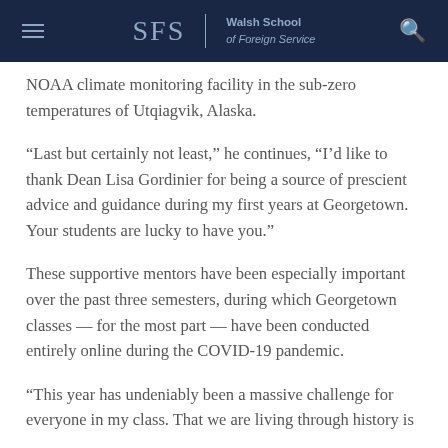SFS | Walsh School of Foreign Service
NOAA climate monitoring facility in the sub-zero temperatures of Utqiagvik, Alaska.
“Last but certainly not least,” he continues, “I’d like to thank Dean Lisa Gordinier for being a source of prescient advice and guidance during my first years at Georgetown. Your students are lucky to have you.”
These supportive mentors have been especially important over the past three semesters, during which Georgetown classes — for the most part — have been conducted entirely online during the COVID-19 pandemic.
“This year has undeniably been a massive challenge for everyone in my class. That we are living through history is